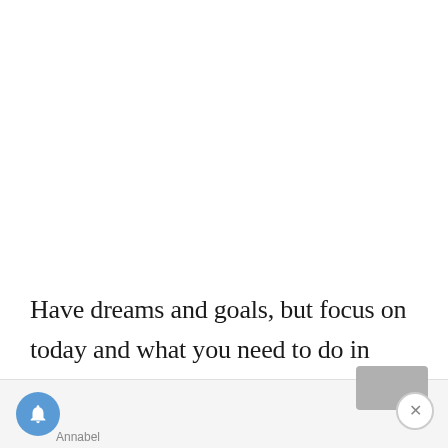Have dreams and goals, but focus on today and what you need to do in order to reach those dreams and goals. That’s going to make you so much more productive!
[Figure (screenshot): Bottom UI bar with a blue notification bell button on the left, 'Annabel' label below it, a grey rectangular button in the bottom right, and a close (X) circle button overlapping the bottom-right corner.]